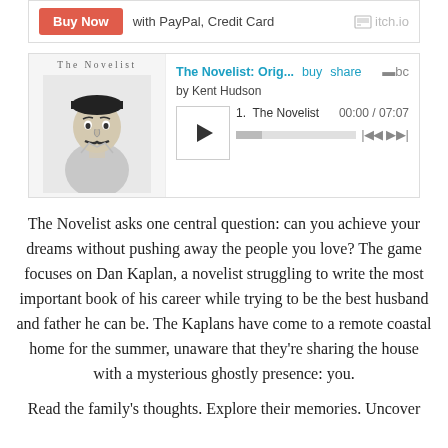[Figure (screenshot): Purchase bar with red Buy Now button, 'with PayPal, Credit Card' text, and itch.io logo]
[Figure (screenshot): Bandcamp music player widget for 'The Novelist: Orig...' by Kent Hudson, showing album art, play button, track '1. The Novelist', time 00:00 / 07:07, and progress bar]
The Novelist asks one central question: can you achieve your dreams without pushing away the people you love? The game focuses on Dan Kaplan, a novelist struggling to write the most important book of his career while trying to be the best husband and father he can be. The Kaplans have come to a remote coastal home for the summer, unaware that they're sharing the house with a mysterious ghostly presence: you.
Read the family's thoughts. Explore their memories. Uncover